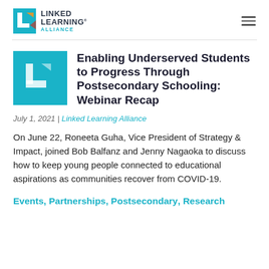[Figure (logo): Linked Learning Alliance logo with colorful L icon and text]
Enabling Underserved Students to Progress Through Postsecondary Schooling: Webinar Recap
July 1, 2021 | Linked Learning Alliance
On June 22, Roneeta Guha, Vice President of Strategy & Impact, joined Bob Balfanz and Jenny Nagaoka to discuss how to keep young people connected to educational aspirations as communities recover from COVID-19.
Events, Partnerships, Postsecondary, Research